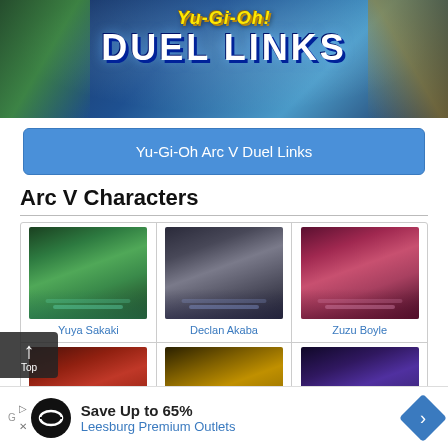[Figure (illustration): Yu-Gi-Oh! Duel Links game banner with anime characters and logo text]
Yu-Gi-Oh Arc V Duel Links
Arc V Characters
[Figure (illustration): Grid of Arc V character portraits: Yuya Sakaki, Declan Akaba, Zuzu Boyle (row 1); three more characters (row 2, partially visible)]
Yuya Sakaki
Declan Akaba
Zuzu Boyle
Save Up to 65%
Leesburg Premium Outlets